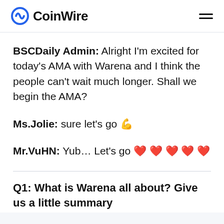CoinWire
BSCDaily Admin: Alright I'm excited for today's AMA with Warena and I think the people can't wait much longer. Shall we begin the AMA?
Ms.Jolie: sure let's go 💪
Mr.VuHN: Yub… Let's go ❤ ❤ ❤ ❤ ❤
Q1: What is Warena all about? Give us a little summary